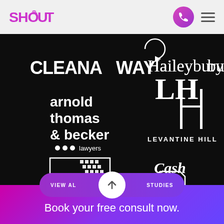SHOUT
[Figure (logo): Grid of client logos on dark background: Cleanaway, Haileybury, arnold thomas & becker lawyers, Levantine Hill, national tiles, Cash Stop]
VIEW ALL STUDIES
Book your free consult now.